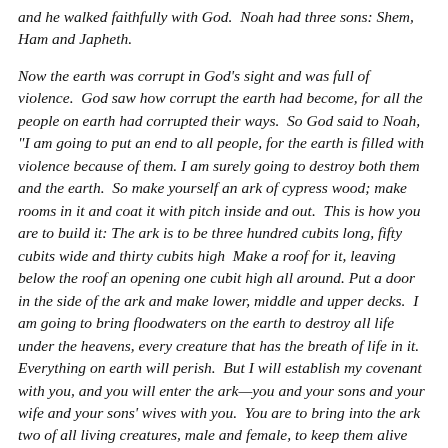and he walked faithfully with God.  Noah had three sons: Shem, Ham and Japheth.
Now the earth was corrupt in God's sight and was full of violence.  God saw how corrupt the earth had become, for all the people on earth had corrupted their ways.  So God said to Noah, "I am going to put an end to all people, for the earth is filled with violence because of them. I am surely going to destroy both them and the earth.  So make yourself an ark of cypress wood; make rooms in it and coat it with pitch inside and out.  This is how you are to build it: The ark is to be three hundred cubits long, fifty cubits wide and thirty cubits high  Make a roof for it, leaving below the roof an opening one cubit high all around. Put a door in the side of the ark and make lower, middle and upper decks.  I am going to bring floodwaters on the earth to destroy all life under the heavens, every creature that has the breath of life in it. Everything on earth will perish.  But I will establish my covenant with you, and you will enter the ark—you and your sons and your wife and your sons' wives with you.  You are to bring into the ark two of all living creatures, male and female, to keep them alive with you.  Two of every kind of bird, of every kind of animal and of every kind of creature that moves along the ground